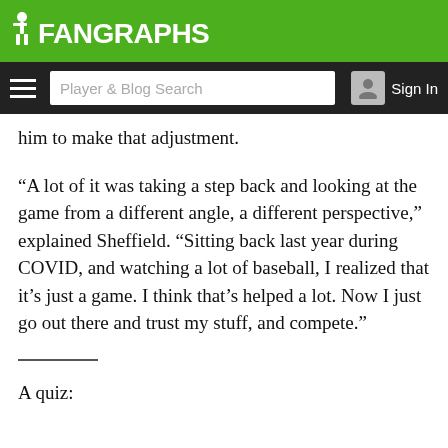FanGraphs
[Figure (screenshot): FanGraphs navigation bar with hamburger menu, Player & Blog Search input, and Sign In button]
him to make that adjustment.
“A lot of it was taking a step back and looking at the game from a different angle, a different perspective,” explained Sheffield. “Sitting back last year during COVID, and watching a lot of baseball, I realized that it’s just a game. I think that’s helped a lot. Now I just go out there and trust my stuff, and compete.”
A quiz: